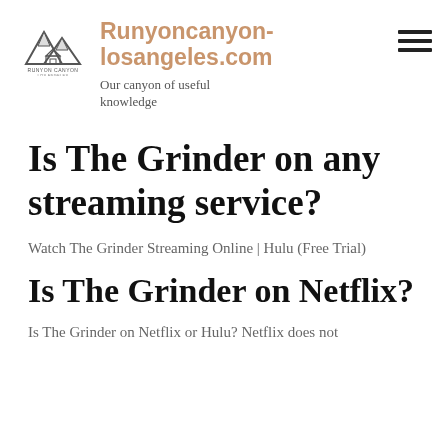Runyoncanyon-losangeles.com
Our canyon of useful knowledge
Is The Grinder on any streaming service?
Watch The Grinder Streaming Online | Hulu (Free Trial)
Is The Grinder on Netflix?
Is The Grinder on Netflix or Hulu? Netflix does not